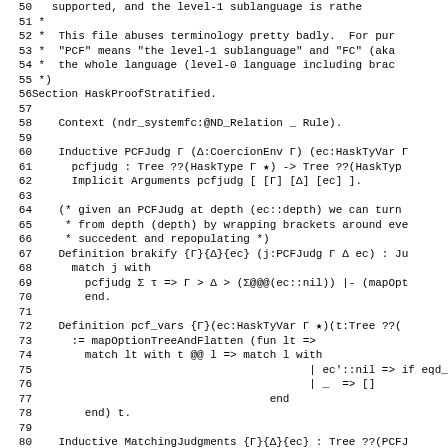Code listing lines 50-82, Coq proof assistant source file for HaskProofStratified section